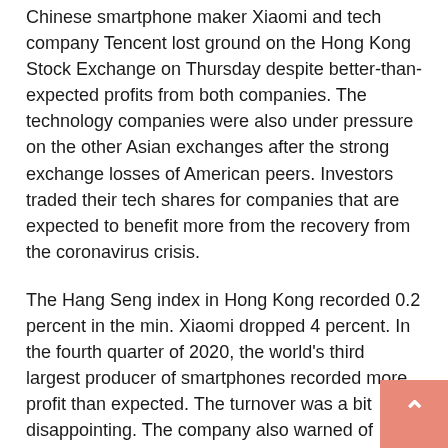Chinese smartphone maker Xiaomi and tech company Tencent lost ground on the Hong Kong Stock Exchange on Thursday despite better-than-expected profits from both companies. The technology companies were also under pressure on the other Asian exchanges after the strong exchange losses of American peers. Investors traded their tech shares for companies that are expected to benefit more from the recovery from the coronavirus crisis.
The Hang Seng index in Hong Kong recorded 0.2 percent in the min. Xiaomi dropped 4 percent. In the fourth quarter of 2020, the world's third largest producer of smartphones recorded more profit than expected. The turnover was a bit disappointing. The company also warned of higher costs due to the global chip shortage, which now affects consumer electronics manufacturers alongside the automotive industry.
Tencent, in which the tech investor Prosus, quoted in